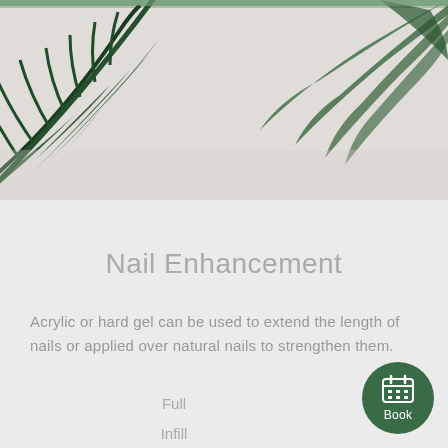[Figure (photo): Green tropical palm leaves against a light beige/white wall background, decorative hero image]
Nail Enhancement
Acrylic or hard gel can be used to extend the length of nails or applied over natural nails to strengthen them.
Full
Infill